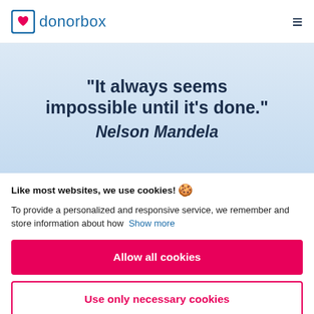donorbox
[Figure (screenshot): Donorbox website hero section showing quote: 'It always seems impossible until it's done.' Nelson Mandela, on a light blue gradient background]
Like most websites, we use cookies! 🍪
To provide a personalized and responsive service, we remember and store information about how  Show more
Allow all cookies
Use only necessary cookies
More options ▾